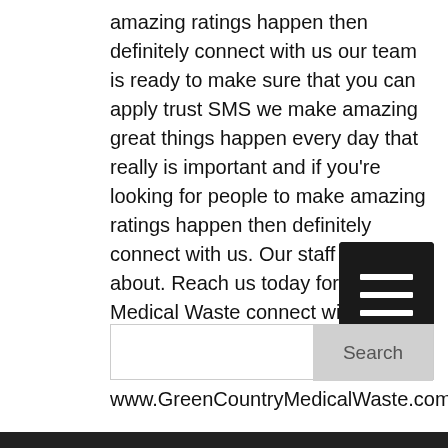amazing ratings happen then definitely connect with us our team is ready to make sure that you can apply trust SMS we make amazing great things happen every day that really is important and if you're looking for people to make amazing ratings happen then definitely connect with us. Our staff is all about. Reach us today for Tulsa Medical Waste connect with a good team and more! Call us today: 918.279.6855 or visit www.GreenCountryMedicalWaste.com.
[Figure (other): Hamburger menu icon — three horizontal white lines on a dark background]